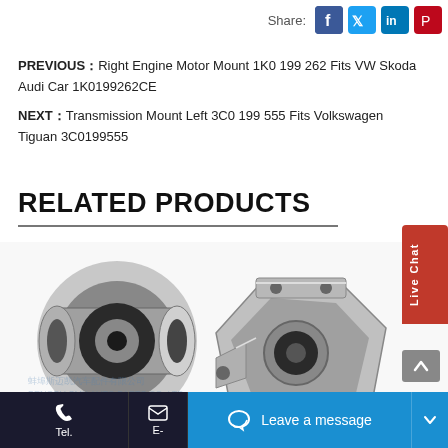Share:
PREVIOUS：Right Engine Motor Mount 1K0 199 262 Fits VW Skoda Audi Car 1K0199262CE
NEXT：Transmission Mount Left 3C0 199 555 Fits Volkswagen Tiguan 3C0199555
RELATED PRODUCTS
[Figure (photo): Cylindrical rubber bushing/motor mount automotive part, metal outer shell with rubber center]
[Figure (photo): Engine motor mount bracket assembly, aluminum casting with rubber isolator bushing]
Tel.   E-   Leave a message